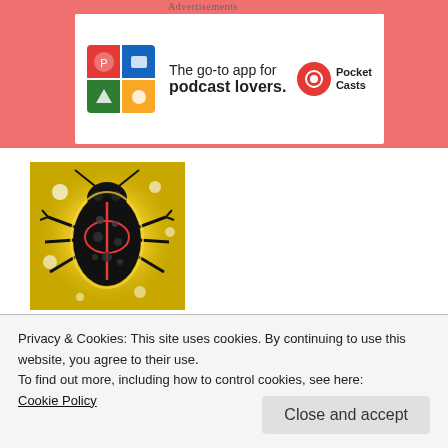Advertisements
[Figure (illustration): Pocket Casts advertisement banner: colorful app icon on left, text 'The go-to app for podcast lovers.' with Pocket Casts logo on right, on white background set against pink/coral decorative header with leaf motifs.]
[Figure (illustration): Square image of a stylized black beetle/bug with red markings on a golden glowing background]
American Institute of Culinary Politics-Elemental News of
Privacy & Cookies: This site uses cookies. By continuing to use this website, you agree to their use.
To find out more, including how to control cookies, see here:
Cookie Policy
Close and accept